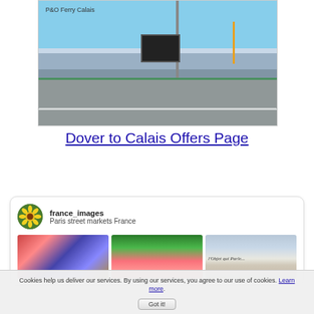[Figure (photo): P&O Ferry Calais — a harbour/port scene showing a ferry terminal with a large scoreboard structure, a tall pole, cranes, parked vehicles and markings on the tarmac ground under a blue sky.]
Dover to Calais Offers Page
[Figure (photo): Instagram card for france_images showing 'Paris street markets France' with three preview images: a colourful market stall, a flower market, and a shop front reading 'l'Objet qui Parle...']
Cookies help us deliver our services. By using our services, you agree to our use of cookies. Learn more.
Got it!